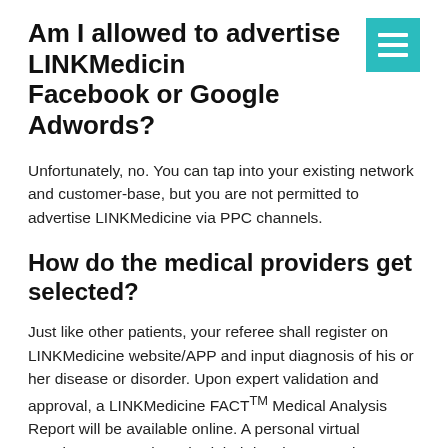Am I allowed to advertise LINKMedicine via Facebook or Google Adwords?
Unfortunately, no. You can tap into your existing network and customer-base, but you are not permitted to advertise LINKMedicine via PPC channels.
How do the medical providers get selected?
Just like other patients, your referee shall register on LINKMedicine website/APP and input diagnosis of his or her disease or disorder. Upon expert validation and approval, a LINKMedicine FACT™ Medical Analysis Report will be available online. A personal virtual appointment may be scheduled data interpretation.